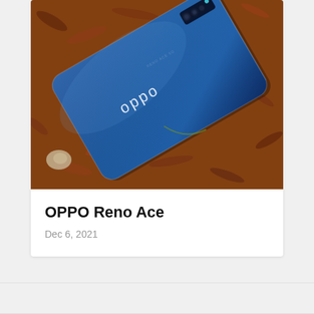[Figure (photo): OPPO Reno Ace smartphone lying on a bed of wood chips/mulch, showing the blue glossy back with OPPO logo and triple camera module in the upper right corner.]
OPPO Reno Ace
Dec 6, 2021